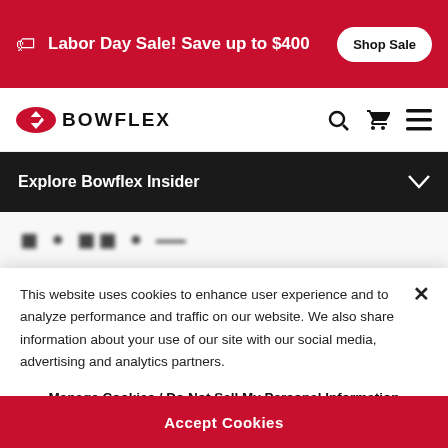Labor Day Sale! Save up to $400  Shop Sale
[Figure (logo): Bowflex logo with lightning bolt emblem and navigation icons]
Explore Bowflex Insider
[Figure (screenshot): Partially visible blurred page content below navigation]
This website uses cookies to enhance user experience and to analyze performance and traffic on our website. We also share information about your use of our site with our social media, advertising and analytics partners.
Manage Cookies / Do Not Sell My Personal Information
Accept Cookies